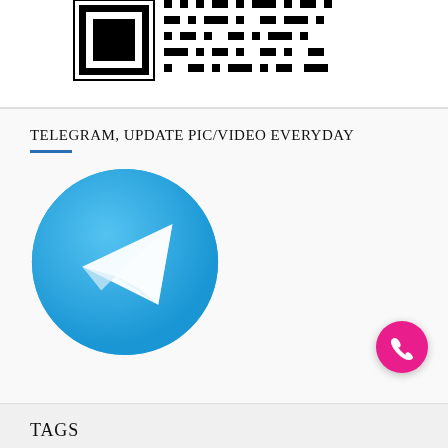[Figure (other): Partial QR code visible at top of page, black and white pattern]
TELEGRAM, UPDATE PIC/VIDEO EVERYDAY
[Figure (logo): Telegram app logo: blue circle with white paper airplane icon]
[Figure (other): Pink/magenta circular phone call button in bottom right corner]
TAGS